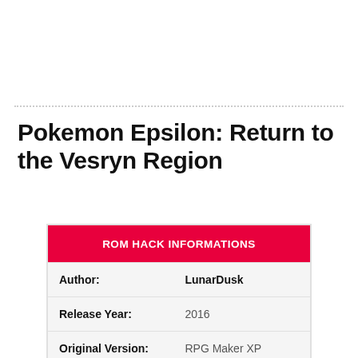Pokemon Epsilon: Return to the Vesryn Region
| ROM HACK INFORMATIONS |
| --- |
| Author: | LunarDusk |
| Release Year: | 2016 |
| Original Version: | RPG Maker XP |
| Language: | English |